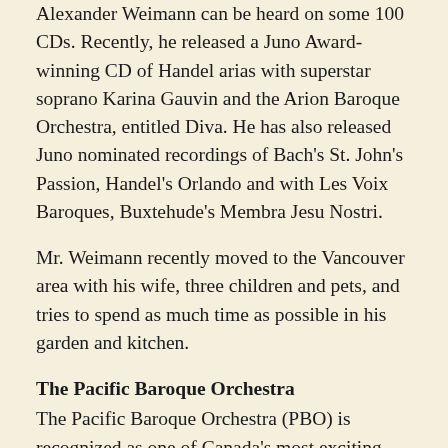Alexander Weimann can be heard on some 100 CDs. Recently, he released a Juno Award-winning CD of Handel arias with superstar soprano Karina Gauvin and the Arion Baroque Orchestra, entitled Diva. He has also released Juno nominated recordings of Bach's St. John's Passion, Handel's Orlando and with Les Voix Baroques, Buxtehude's Membra Jesu Nostri.
Mr. Weimann recently moved to the Vancouver area with his wife, three children and pets, and tries to spend as much time as possible in his garden and kitchen.
The Pacific Baroque Orchestra
The Pacific Baroque Orchestra (PBO) is recognized as one of Canada's most exciting and innovative ensembles performing “early music for modern ears.” PBO brings the music of the past up to date by performing with cutting edge style and enthusiasm. Formed in 1990, the orchestra quickly established itself as a force in Vancouver's